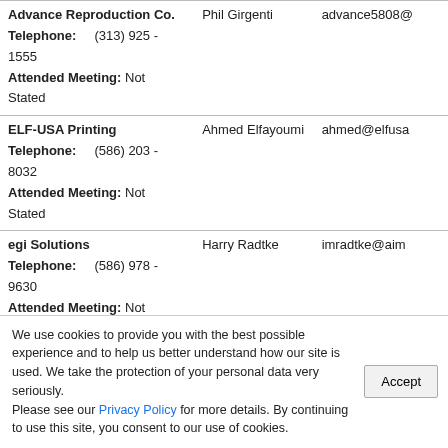| Company | Contact | Email |
| --- | --- | --- |
| Advance Reproduction Co.
Telephone: (313) 925 - 1555
Attended Meeting: Not Stated | Phil Girgenti | advance5808@... |
| ELF-USA Printing
Telephone: (586) 203 - 8032
Attended Meeting: Not Stated | Ahmed Elfayoumi | ahmed@elfusa... |
| egi Solutions
Telephone: (586) 978 - 9630
Attended Meeting: Not Stated | Harry Radtke | imradtke@aim... |
| Dollar Bill Copying
Telephone: (734) 231 - 3226
Attended Meeting: Not Stated | Michael J. Leonard | stacy@dollarbi... |
| Thorpe Printing Services, Inc.
Telephone: (810) 364 - 6222
Attended Meeting: Not Stated | Lance Thorpe | lance@thorpe... |
| Web Litho Inc. | James Dunick | jim@weblitho... |
We use cookies to provide you with the best possible experience and to help us better understand how our site is used. We take the protection of your personal data very seriously.
Please see our Privacy Policy for more details. By continuing to use this site, you consent to our use of cookies.